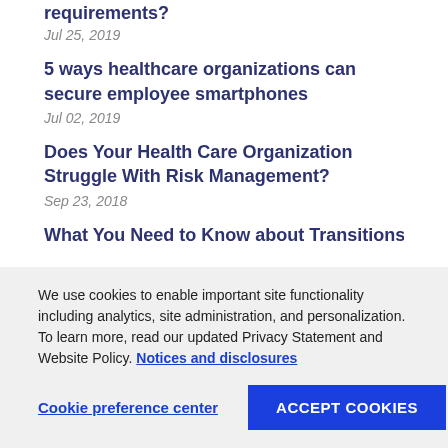requirements?
Jul 25, 2019
5 ways healthcare organizations can secure employee smartphones
Jul 02, 2019
Does Your Health Care Organization Struggle With Risk Management?
Sep 23, 2018
What You Need to Know about Transitions...
We use cookies to enable important site functionality including analytics, site administration, and personalization. To learn more, read our updated Privacy Statement and Website Policy. Notices and disclosures
Cookie preference center
ACCEPT COOKIES